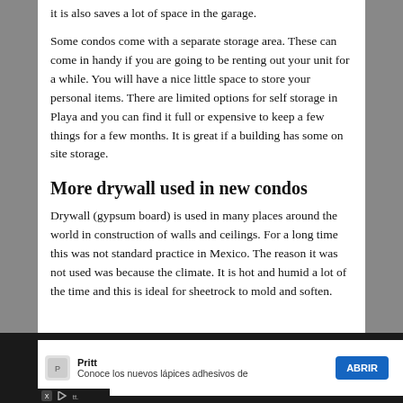it is also saves a lot of space in the garage.
Some condos come with a separate storage area. These can come in handy if you are going to be renting out your unit for a while. You will have a nice little space to store your personal items. There are limited options for self storage in Playa and you can find it full or expensive to keep a few things for a few months. It is great if a building has some on site storage.
More drywall used in new condos
Drywall (gypsum board) is used in many places around the world in construction of walls and ceilings. For a long time this was not standard practice in Mexico. The reason it was not used was because the climate. It is hot and humid a lot of the time and this is ideal for sheetrock to mold and soften.